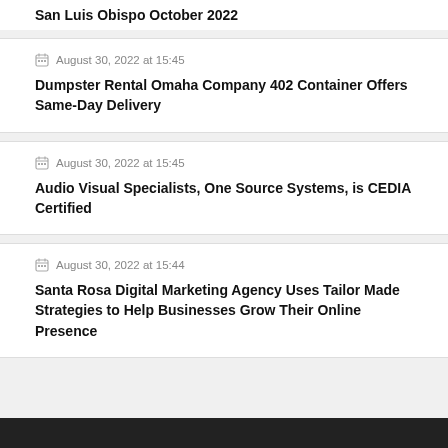San Luis Obispo October 2022
August 30, 2022 at 15:45 — Dumpster Rental Omaha Company 402 Container Offers Same-Day Delivery
August 30, 2022 at 15:45 — Audio Visual Specialists, One Source Systems, is CEDIA Certified
August 30, 2022 at 15:44 — Santa Rosa Digital Marketing Agency Uses Tailor Made Strategies to Help Businesses Grow Their Online Presence